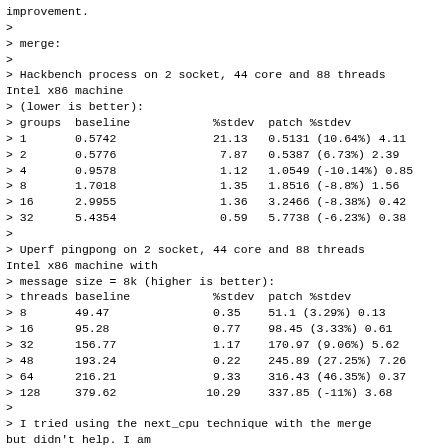improvement.
>
> merge:
>
> Hackbench process on 2 socket, 44 core and 88 threads Intel x86 machine
> (lower is better):
| > groups | baseline | %stdev | patch %stdev |
| --- | --- | --- | --- |
| > 1 | 0.5742 | 21.13 | 0.5131 (10.64%) 4.11 |
| > 2 | 0.5776 | 7.87 | 0.5387 (6.73%) 2.39 |
| > 4 | 0.9578 | 1.12 | 1.0549 (-10.14%) 0.85 |
| > 8 | 1.7018 | 1.35 | 1.8516 (-8.8%) 1.56 |
| > 16 | 2.9955 | 1.36 | 3.2466 (-8.38%) 0.42 |
| > 32 | 5.4354 | 0.59 | 5.7738 (-6.23%) 0.38 |
>
> Uperf pingpong on 2 socket, 44 core and 88 threads Intel x86 machine with
> message size = 8k (higher is better):
| > threads | baseline | %stdev | patch %stdev |
| --- | --- | --- | --- |
| > 8 | 49.47 | 0.35 | 51.1 (3.29%) 0.13 |
| > 16 | 95.28 | 0.77 | 98.45 (3.33%) 0.61 |
| > 32 | 156.77 | 1.17 | 170.97 (9.06%) 5.62 |
| > 48 | 193.24 | 0.22 | 245.89 (27.25%) 7.26 |
| > 64 | 216.21 | 9.33 | 316.43 (46.35%) 0.37 |
| > 128 | 379.62 | 10.29 | 337.85 (-11%) 3.68 |
>
> I tried using the next_cpu technique with the merge but didn't help. I am
> open to suggestions.
>
>